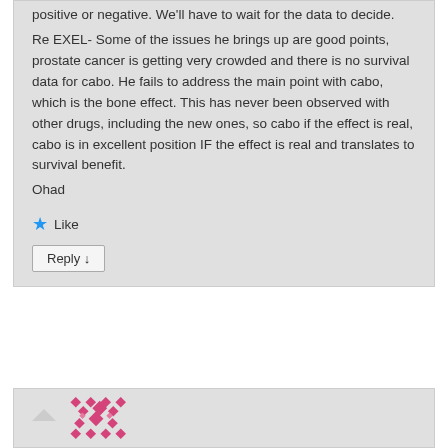positive or negative. We'll have to wait for the data to decide.
Re EXEL- Some of the issues he brings up are good points, prostate cancer is getting very crowded and there is no survival data for cabo. He fails to address the main point with cabo, which is the bone effect. This has never been observed with other drugs, including the new ones, so cabo if the effect is real, cabo is in excellent position IF the effect is real and translates to survival benefit.
Ohad
★ Like
Reply ↓
[Figure (illustration): Decorative avatar icon with geometric diamond/cross pattern in pink/rose color]